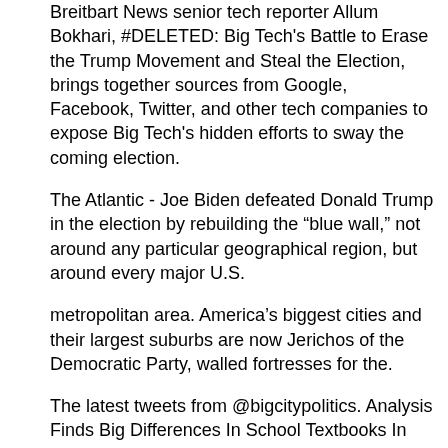Breitbart News senior tech reporter Allum Bokhari, #DELETED: Big Tech's Battle to Erase the Trump Movement and Steal the Election, brings together sources from Google, Facebook, Twitter, and other tech companies to expose Big Tech's hidden efforts to sway the coming election.
The Atlantic - Joe Biden defeated Donald Trump in the election by rebuilding the “blue wall,” not around any particular geographical region, but around every major U.S.
metropolitan area. America’s biggest cities and their largest suburbs are now Jerichos of the Democratic Party, walled fortresses for the.
The latest tweets from @bigcitypolitics. Analysis Finds Big Differences In School Textbooks In States With Differing Politics A New York Times analysis of social studies textbooks from.
Big City Comics Studio. K likes. Big City Comics Studio is a Comic Book/Graphic novel production company. A big city like New York or Philadelphia or Chicago might be compared to a sort of Garden of Eden, from a political point of view.